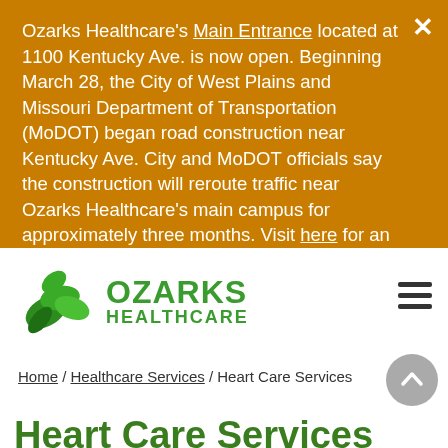Ozarks Healthcare's Main Entrance located at 1100 Kentucky Ave. is now open. Beginning March 28, the City of West Plains and Missouri Department of Transportation (MoDOT) began road construction near Kentucky Ave. City and MoDOT officials say the construction will reroute traffic near Ozarks Healthcare's main campus for approximately three months. Visit here for an updated map and construction information.
[Figure (logo): Ozarks Healthcare logo — green leaf cluster icon with 'OZARKS HEALTHCARE' text in green]
Home / Healthcare Services / Heart Care Services
Heart Care Services